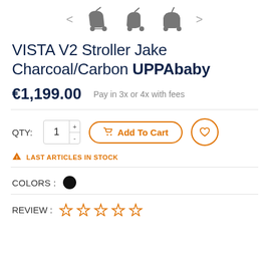[Figure (screenshot): Product thumbnail carousel showing three stroller images with left and right navigation arrows]
VISTA V2 Stroller Jake Charcoal/Carbon UPPAbaby
€1,199.00   Pay in 3x or 4x with fees
QTY: 1  Add To Cart
LAST ARTICLES IN STOCK
COLORS :
REVIEW :